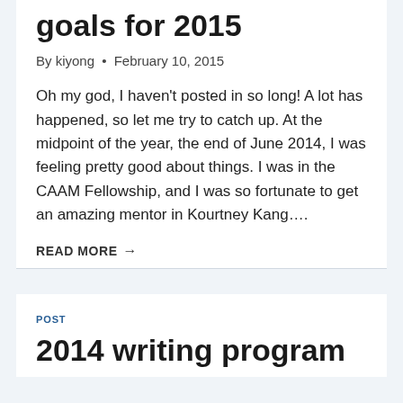goals for 2015
By kiyong • February 10, 2015
Oh my god, I haven't posted in so long! A lot has happened, so let me try to catch up. At the midpoint of the year, the end of June 2014, I was feeling pretty good about things. I was in the CAAM Fellowship, and I was so fortunate to get an amazing mentor in Kourtney Kang….
READ MORE →
POST
2014 writing program